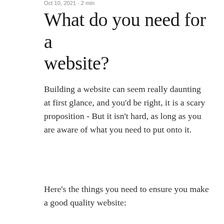Oct 10, 2021 · 2 min
What do you need for a website?
Building a website can seem really daunting at first glance, and you'd be right, it is a scary proposition - But it isn't hard, as long as you are aware of what you need to put onto it.
Here's the things you need to ensure you make a good quality website:
1. Website